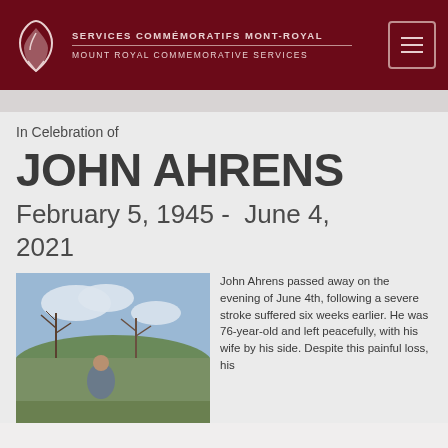SERVICES COMMÉMORATIFS MONT-ROYAL / MOUNT ROYAL COMMEMORATIVE SERVICES
In Celebration of
JOHN AHRENS
February 5, 1945 -  June 4, 2021
[Figure (photo): Outdoor photo of John Ahrens, an elderly man with white hair sitting outdoors with trees and sky in the background]
John Ahrens passed away on the evening of June 4th, following a severe stroke suffered six weeks earlier. He was 76-year-old and left peacefully, with his wife by his side. Despite this painful loss, his